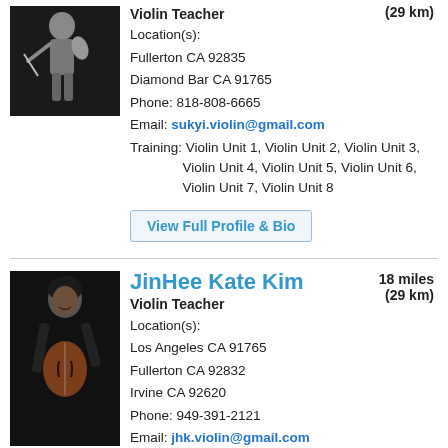[Figure (photo): Black and white photo of a violin teacher playing violin]
Violin Teacher
(29 km)
Location(s):
Fullerton CA 92835
Diamond Bar CA 91765
Phone: 818-808-6665
Email: sukyi.violin@gmail.com
Training: Violin Unit 1, Violin Unit 2, Violin Unit 3, Violin Unit 4, Violin Unit 5, Violin Unit 6, Violin Unit 7, Violin Unit 8
View Full Profile & Bio
[Figure (photo): Photo of JinHee Kate Kim holding a violin, smiling]
JinHee Kate Kim
Violin Teacher
18 miles
(29 km)
Location(s):
Los Angeles CA 91765
Fullerton CA 92832
Irvine CA 92620
Phone: 949-391-2121
Email: jhk.violin@gmail.com